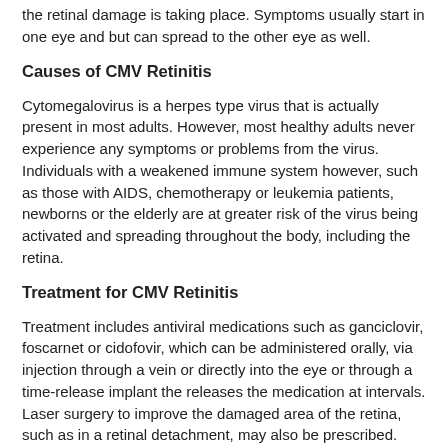the retinal damage is taking place. Symptoms usually start in one eye and but can spread to the other eye as well.
Causes of CMV Retinitis
Cytomegalovirus is a herpes type virus that is actually present in most adults. However, most healthy adults never experience any symptoms or problems from the virus. Individuals with a weakened immune system however, such as those with AIDS, chemotherapy or leukemia patients, newborns or the elderly are at greater risk of the virus being activated and spreading throughout the body, including the retina.
Treatment for CMV Retinitis
Treatment includes antiviral medications such as ganciclovir, foscarnet or cidofovir, which can be administered orally, via injection through a vein or directly into the eye or through a time-release implant the releases the medication at intervals. Laser surgery to improve the damaged area of the retina, such as in a retinal detachment, may also be prescribed.